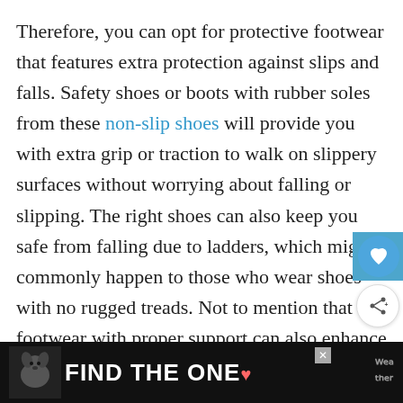Therefore, you can opt for protective footwear that features extra protection against slips and falls. Safety shoes or boots with rubber soles from these non-slip shoes will provide you with extra grip or traction to walk on slippery surfaces without worrying about falling or slipping. The right shoes can also keep you safe from falling due to ladders, which might commonly happen to those who wear shoes with no rugged treads. Not to mention that footwear with proper support can also enhance stability, helping you to avoid slipping and
[Figure (other): Advertisement banner at bottom: black background with dog photo, text 'FIND THE ONE.' in white bold font with a red heart, and a close button. Weathertech or similar brand logo on right.]